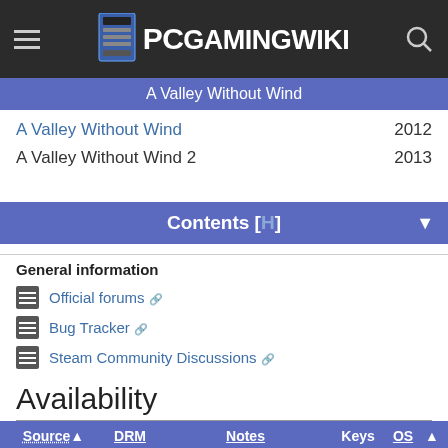PCGamingWiki
A Valley Without Wind
A Valley Without Wind	2012
A Valley Without Wind 2	2013
Contents [H]
General information
Official forums
Bug Tracker
Steam Community Discussions
Availability
| Source | DRM | Notes | Keys | OS |
| --- | --- | --- | --- | --- |
|  |